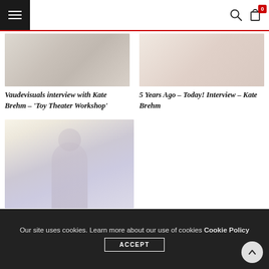Navigation header with hamburger menu, search icon, and cart (0 items)
[Figure (photo): Blurred/obscured thumbnail image for article about Vaudevisuals interview with Kate Brehm – Toy Theater Workshop]
Vaudevisuals interview with Kate Brehm – 'Toy Theater Workshop'
[Figure (photo): Blurred/obscured thumbnail image for article about 5 Years Ago – Today! Interview – Kate Brehm]
5 Years Ago – Today! Interview – Kate Brehm
[Figure (photo): Blurred portrait thumbnail image for Vaudevisuals interview with Tran SD]
Vaudevisuals interview with 'Tran SD
Our site uses cookies. Learn more about our use of cookies Cookie Policy
ACCEPT